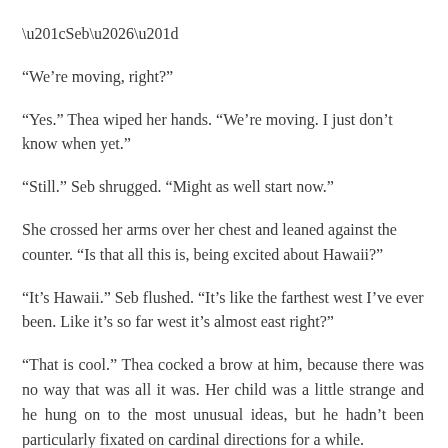“Seb…”
“We’re moving, right?”
“Yes.” Thea wiped her hands. “We’re moving. I just don’t know when yet.”
“Still.” Seb shrugged. “Might as well start now.”
She crossed her arms over her chest and leaned against the counter. “Is that all this is, being excited about Hawaii?”
“It’s Hawaii.” Seb flushed. “It’s like the farthest west I’ve ever been. Like it’s so far west it’s almost east right?”
“That is cool.” Thea cocked a brow at him, because there was no way that was all it was. Her child was a little strange and he hung on to the most unusual ideas, but he hadn’t been particularly fixated on cardinal directions for a while.